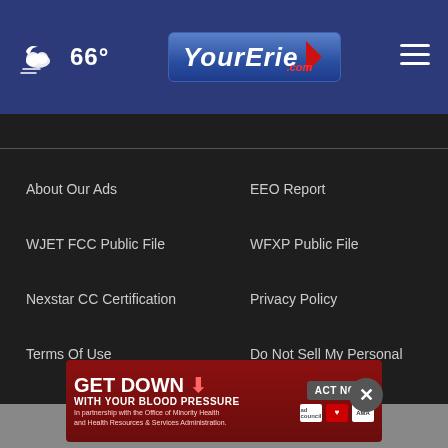[Figure (screenshot): YourErie.com website header with weather icon showing 66°, YourErie.com logo, and hamburger menu]
About Our Ads
EEO Report
WJET FCC Public File
WFXP Public File
Nexstar CC Certification
Privacy Policy
Terms Of Use
Do Not Sell My Personal Information
FCC Applications
Public File Assistance Contact
[Figure (photo): Advertisement banner: GET DOWN WITH YOUR BLOOD PRESSURE - ACT NOW button with ad council, American Heart Association, and AMA logos]